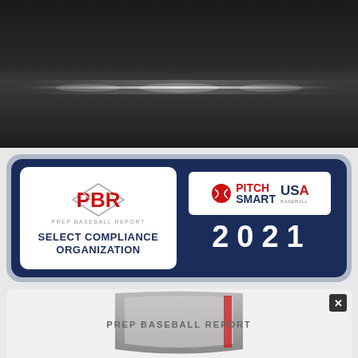[Figure (photo): Dark metallic surface with subtle spotlight/light strip effect, dark gray background]
[Figure (logo): PBR Prep Baseball Report Select Compliance Organization badge combined with MLB Pitch Smart USA Baseball 2021 badge on dark navy background]
[Figure (logo): Prep Baseball Report shield logo at bottom, partially visible, with close/X button in top right corner]